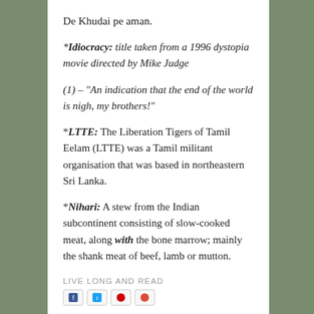De Khudai pe aman.
*Idiocracy: title taken from a 1996 dystopia movie directed by Mike Judge
(1) – "An indication that the end of the world is nigh, my brothers!"
*LTTE: The Liberation Tigers of Tamil Eelam (LTTE) was a Tamil militant organisation that was based in northeastern Sri Lanka.
*Nihari: A stew from the Indian subcontinent consisting of slow-cooked meat, along with the bone marrow; mainly the shank meat of beef, lamb or mutton.
LIVE LONG AND READ